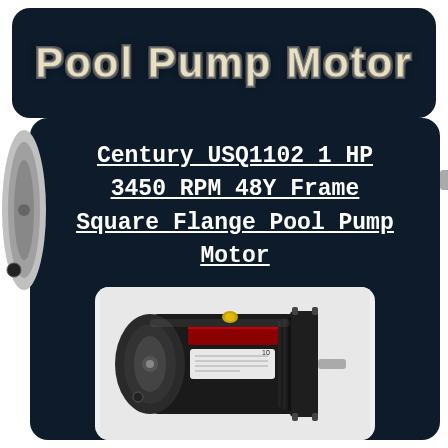Pool Pump Motor
Century USQ1102 1 HP 3450 RPM 48Y Frame Square Flange Pool Pump Motor
[Figure (photo): Photo of a Century USQ1102 1 HP 3450 RPM 48Y Frame Square Flange Pool Pump Motor, showing a black cylindrical electric motor with a square flange mounting plate on one end and cooling fins, with a red label strip and product sticker on the body.]